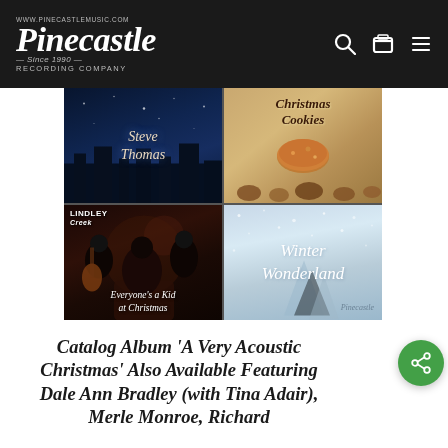www.pinecastlemusic.com Pinecastle Since 1990 Recording Company
[Figure (photo): 2x2 grid of Christmas album covers: top-left Steve Thomas dark blue night scene with script text; top-right Christmas Cookies with cookie imagery and warm brown background; bottom-left Lindley Creek band photo with text 'Everyone's a Kid at Christmas'; bottom-right Winter Wonderland snowy scene with script text and Pinecastle logo]
Catalog Album 'A Very Acoustic Christmas' Also Available Featuring Dale Ann Bradley (with Tina Adair), Merle Monroe, Richard Bennet, St. Ellen, Bradleys, Slim Haze...